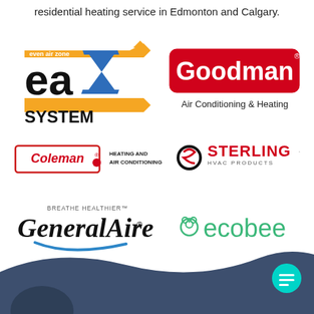residential heating service in Edmonton and Calgary.
[Figure (logo): eaZ System (even air zone) logo with orange and blue arrows]
[Figure (logo): Goodman Air Conditioning & Heating logo with red rounded rectangle]
[Figure (logo): Coleman Heating and Air Conditioning logo]
[Figure (logo): Sterling HVAC Products logo with red and black circular mark]
[Figure (logo): GeneralAire Breathe Healthier logo with blue swoosh]
[Figure (logo): ecobee logo in green with bee icon]
[Figure (illustration): Dark blue wavy background shape at bottom of page with a person partially visible]
[Figure (other): Teal circular chat button with message icon]